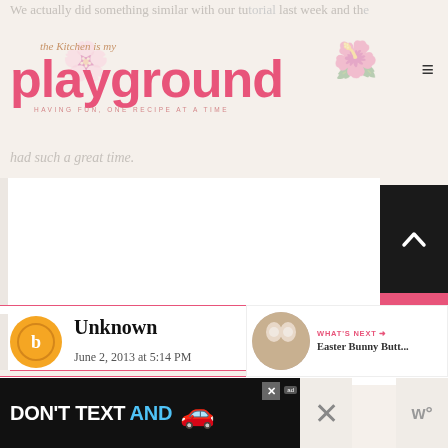We actually did something similar with our tutorial last week and the... had such a great time!
[Figure (logo): The Kitchen is my Playground blog logo with cupcake decorations and tagline 'Having fun, one recipe at a time']
Unknown
June 2, 2013 at 5:14 PM
CUTE!!
[Figure (infographic): What's Next panel showing Easter Bunny Butt... article thumbnail]
Unknown
[Figure (infographic): Advertisement banner: DON'T TEXT AND [car emoji] with NHTSA ad logo and close buttons]